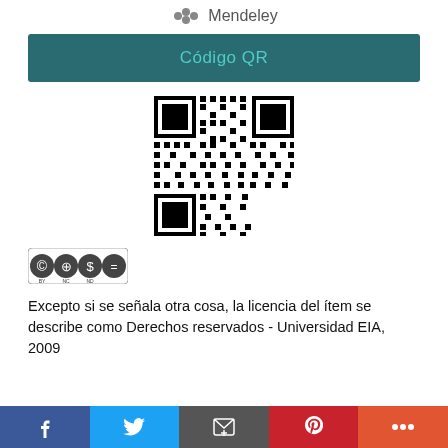[Figure (logo): Mendeley logo with text 'Mendeley']
Código QR
[Figure (other): QR code image]
[Figure (logo): Creative Commons BY NC ND license badge]
Excepto si se señala otra cosa, la licencia del ítem se describe como Derechos reservados - Universidad EIA, 2009
Social sharing bar: Facebook, Twitter, Email, Pinterest, More